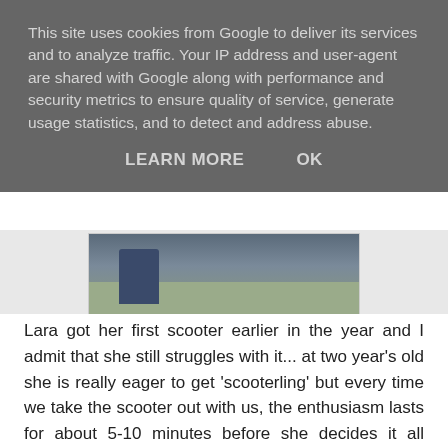This site uses cookies from Google to deliver its services and to analyze traffic. Your IP address and user-agent are shared with Google along with performance and security metrics to ensure quality of service, generate usage statistics, and to detect and address abuse.
LEARN MORE    OK
[Figure (photo): Partial photo showing feet/legs of a child near a scooter on a ground surface.]
Lara got her first scooter earlier in the year and I admit that she still struggles with it... at two year's old she is really eager to get 'scooterling' but every time we take the scooter out with us, the enthusiasm lasts for about 5-10 minutes before she decides it all requires a bit too much co-ordination and asks for us to push her or carry her. I'm now so glad that we have got a Scoot n Pull to make my life easier.
The Scoot 'n' Pull is a small strap harness that you attach to the upright bar of the scooter to pull it along. For me, it is a great way of encouraging Lara to use the scooter and to gain